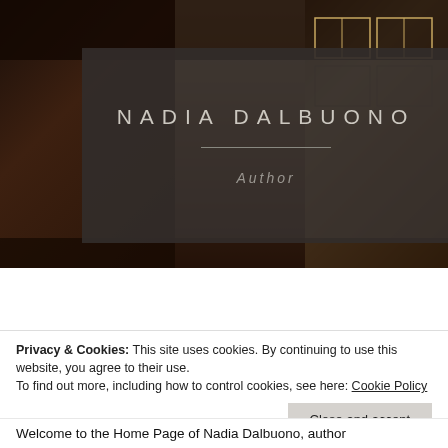[Figure (screenshot): Hero image of an architectural background with brown/dark tones showing a building facade with windows, overlaid with a dark semi-transparent box containing the site name and Author tagline]
NADIA DALBUONO
Author
[Figure (infographic): Dark navigation bar with hamburger menu icon on the left and search (magnifying glass) icon on the right]
Privacy & Cookies: This site uses cookies. By continuing to use this website, you agree to their use.
To find out more, including how to control cookies, see here: Cookie Policy
Close and accept
Welcome to the Home Page of Nadia Dalbuono, author